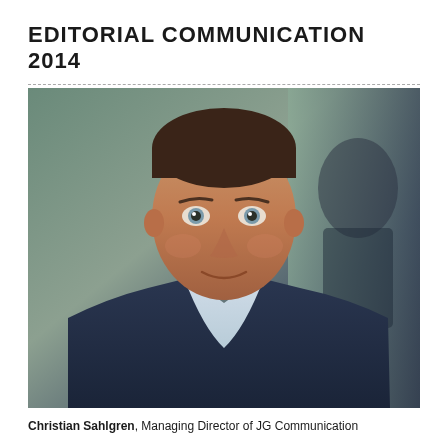EDITORIAL COMMUNICATION 2014
[Figure (photo): Professional headshot of a middle-aged man with short brown hair, wearing a dark navy blazer and light blue shirt, smiling slightly, with a blurred indoor background.]
Christian Sahlgren, Managing Director of JG Communication